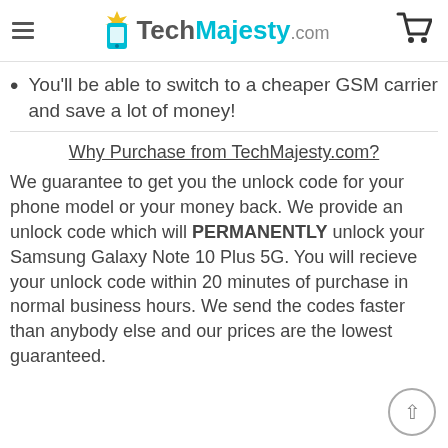TechMajesty.com
You'll be able to switch to a cheaper GSM carrier and save a lot of money!
Why Purchase from TechMajesty.com?
We guarantee to get you the unlock code for your phone model or your money back. We provide an unlock code which will PERMANENTLY unlock your Samsung Galaxy Note 10 Plus 5G. You will recieve your unlock code within 20 minutes of purchase in normal business hours. We send the codes faster than anybody else and our prices are the lowest guaranteed.